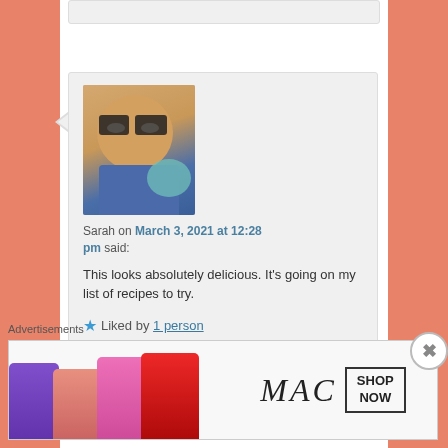[Figure (screenshot): Top portion of a previous comment box, cropped at top of page]
[Figure (photo): Profile photo of Sarah, a woman with glasses and sunglasses, smiling outdoors in a blue top]
Sarah on March 3, 2021 at 12:28 pm said:
This looks absolutely delicious. It's going on my list of recipes to try.
★ Liked by 1 person
Reply ↓
Advertisements
[Figure (screenshot): MAC cosmetics advertisement banner showing lipsticks in purple, peach, pink, and red colors alongside the MAC logo and a SHOP NOW button]